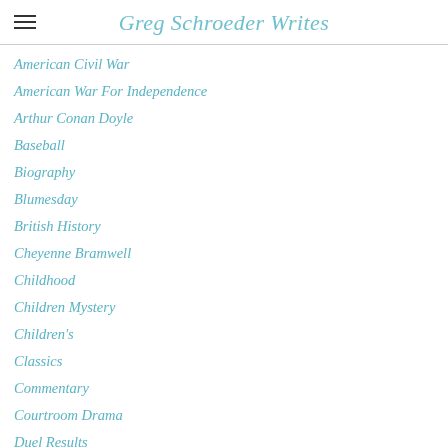Greg Schroeder Writes
American Civil War
American War For Independence
Arthur Conan Doyle
Baseball
Biography
Blumesday
British History
Cheyenne Bramwell
Childhood
Children Mystery
Children's
Classics
Commentary
Courtroom Drama
Duel Results
Emily Dickinson
Encouragement
Engineering Thriller (partial)